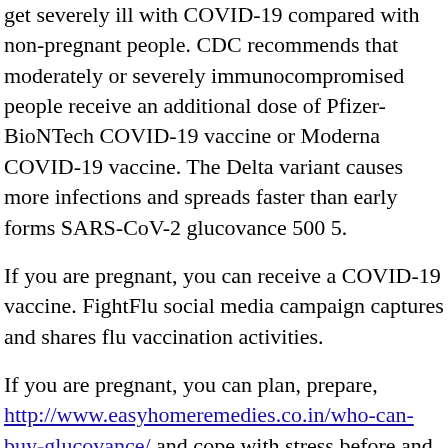get severely ill with COVID-19 compared with non-pregnant people. CDC recommends that moderately or severely immunocompromised people receive an additional dose of Pfizer-BioNTech COVID-19 vaccine or Moderna COVID-19 vaccine. The Delta variant causes more infections and spreads faster than early forms SARS-CoV-2 glucovance 500 5.
If you are pregnant, you can receive a COVID-19 vaccine. FightFlu social media campaign captures and shares flu vaccination activities.
If you are pregnant, you can plan, prepare, http://www.easyhomeremedies.co.in/who-can-buy-glucovance/ and cope with stress before and how much glucovance cost during a COVID-19 vaccine. Detailed explanation how much glucovance cost on how variants